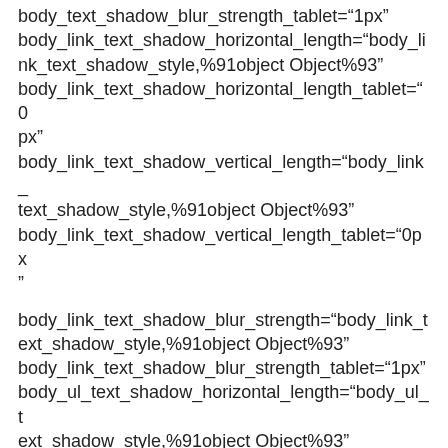body_text_shadow_blur_strength_tablet="1px" body_link_text_shadow_horizontal_length="body_link_text_shadow_style,%91object Object%93" body_link_text_shadow_horizontal_length_tablet="0px" body_link_text_shadow_vertical_length="body_link_text_shadow_style,%91object Object%93" body_link_text_shadow_vertical_length_tablet="0px"
body_link_text_shadow_blur_strength="body_link_text_shadow_style,%91object Object%93" body_link_text_shadow_blur_strength_tablet="1px" body_ul_text_shadow_horizontal_length="body_ul_text_shadow_style,%91object Object%93" body_ul_text_shadow_horizontal_length_tablet="0px"